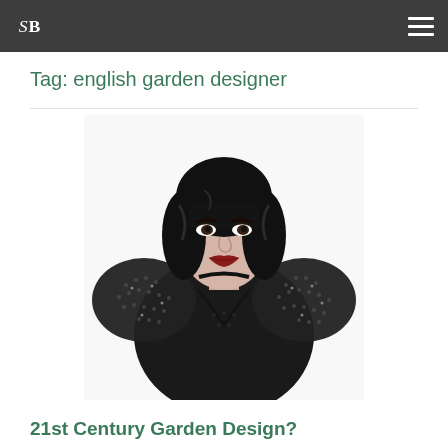SB logo | hamburger menu
Tag: english garden designer
[Figure (photo): Woman with dark wavy hair wearing a black netted structured dress with large puffed mesh sleeves, upper body portrait on white background]
21st Century Garden Design?